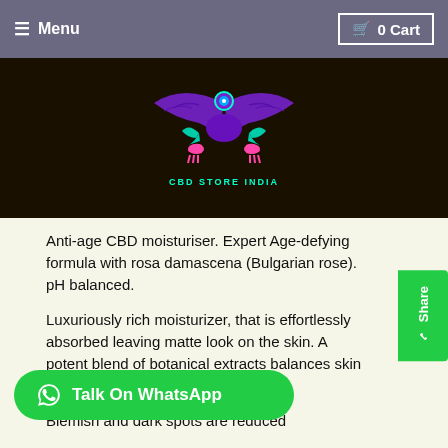≡ Menu   🛒 0 Cart
[Figure (logo): CBD Store India logo - colorful eagle/bird emblem with pink animals and teal accents on dark background, text 'CBD STORE INDIA' below]
Anti-age CBD moisturiser. Expert Age-defying formula with rosa damascena (Bulgarian rose). pH balanced.
Luxuriously rich moisturizer, that is effortlessly absorbed leaving matte look on the skin. A potent blend of botanical extracts balances skin while reducing signs of ageing.
Blemish and dark spots are reduced
Fine lines and wrinkles are reduced
re is restored
Protects by day and restores by night. Satisfaction guaranteed!